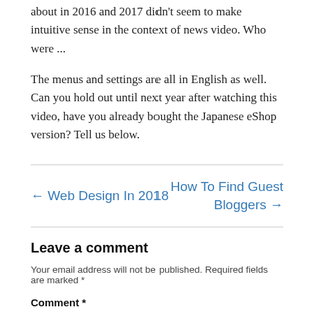about in 2016 and 2017 didn't seem to make intuitive sense in the context of news video. Who were ...
The menus and settings are all in English as well. Can you hold out until next year after watching this video, have you already bought the Japanese eShop version? Tell us below.
← Web Design In 2018   How To Find Guest Bloggers →
Leave a comment
Your email address will not be published. Required fields are marked *
Comment *